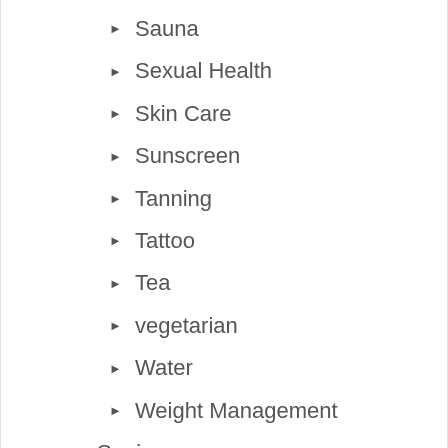Sauna
Sexual Health
Skin Care
Sunscreen
Tanning
Tattoo
Tea
vegetarian
Water
Weight Management
Seniors